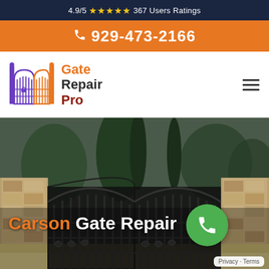4.9/5 ★★★★★ 367 Users Ratings
929-473-2166
[Figure (logo): Gate Repair Pro logo with ornamental gate icon and text]
[Figure (photo): Background photo of ornamental black iron driveway gate with stone pillars and trees]
Carson Gate Repair